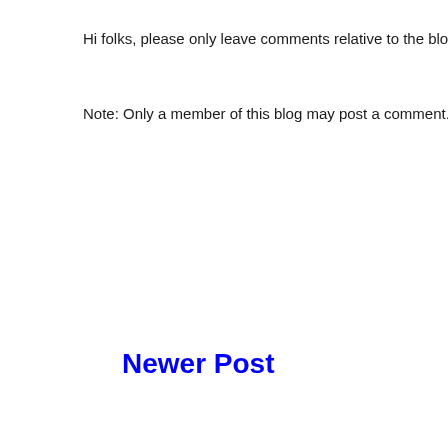Hi folks, please only leave comments relative to the blog post. All s
Note: Only a member of this blog may post a comment.
Newer Post
Home
Subscribe to: Post Co